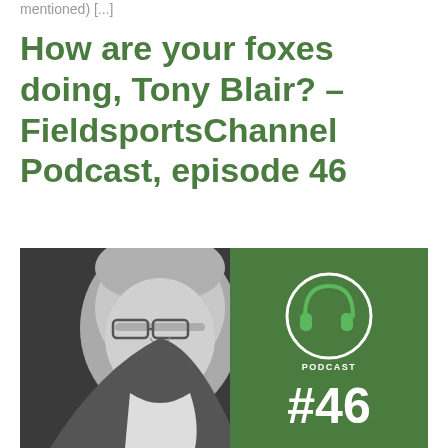mentioned) [...]
How are your foxes doing, Tony Blair? – FieldsportsChannel Podcast, episode 46
[Figure (photo): Black and white photo of two men with a green podcast badge panel on the right showing a headphone icon, the word PODCAST, and #46 in large white text on a dark green background.]